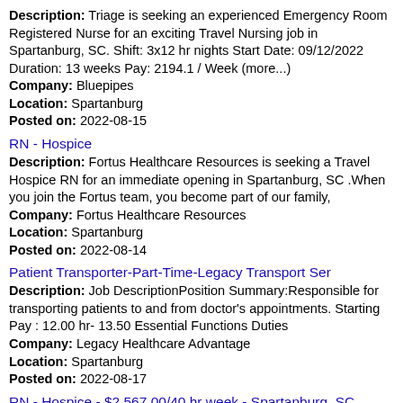Description: Triage is seeking an experienced Emergency Room Registered Nurse for an exciting Travel Nursing job in Spartanburg, SC. Shift: 3x12 hr nights Start Date: 09/12/2022 Duration: 13 weeks Pay: 2194.1 / Week (more...) Company: Bluepipes Location: Spartanburg Posted on: 2022-08-15
RN - Hospice
Description: Fortus Healthcare Resources is seeking a Travel Hospice RN for an immediate opening in Spartanburg, SC .When you join the Fortus team, you become part of our family, Company: Fortus Healthcare Resources Location: Spartanburg Posted on: 2022-08-14
Patient Transporter-Part-Time-Legacy Transport Ser
Description: Job DescriptionPosition Summary:Responsible for transporting patients to and from doctor's appointments. Starting Pay : 12.00 hr- 13.50 Essential Functions Duties Company: Legacy Healthcare Advantage Location: Spartanburg Posted on: 2022-08-17
RN - Hospice - $2,567.00/40 hr week - Spartanburg, SC
Description: Pay Rate br br 2,567 weekly br br 2,567.00 total gross weekly